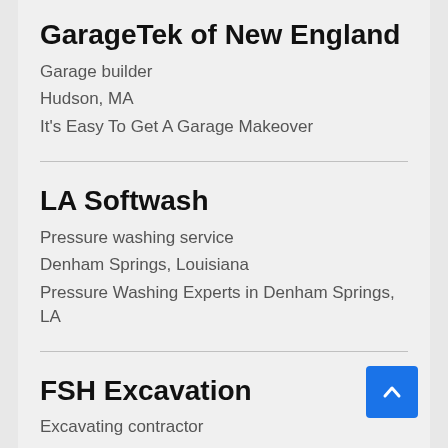GarageTek of New England
Garage builder
Hudson, MA
It's Easy To Get A Garage Makeover
LA Softwash
Pressure washing service
Denham Springs, Louisiana
Pressure Washing Experts in Denham Springs, LA
FSH Excavation
Excavating contractor
Franklin, TN